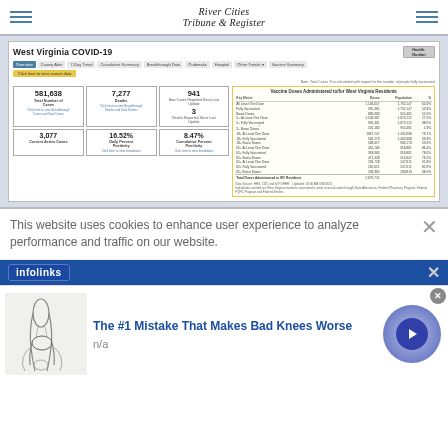River Cities Tribune & Register
[Figure (screenshot): West Virginia COVID-19 dashboard screenshot showing total cases 581,638, deaths 7,277, new cases 941, deaths since last update 3, active cases 3,077, daily percent positivity 16.52%, cumulative percent positivity 8.47%, and a vaccine doses administered table for WV residents]
This website uses cookies to enhance user experience to analyze performance and traffic on our website.
[Figure (advertisement): Infolinks ad bar with close button]
[Figure (advertisement): Ad: The #1 Mistake That Makes Bad Knees Worse, n/a, with knee illustration and play button]